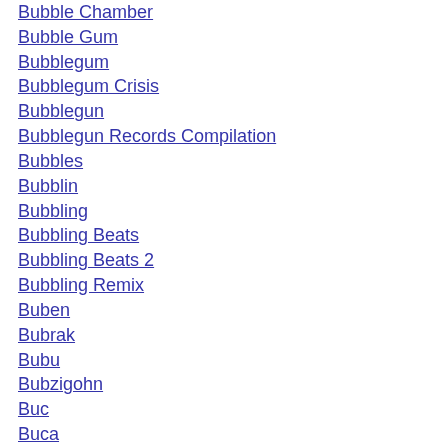Bubble Chamber
Bubble Gum
Bubblegum
Bubblegum Crisis
Bubblegun
Bubblegun Records Compilation
Bubbles
Bubblin
Bubbling
Bubbling Beats
Bubbling Beats 2
Bubbling Remix
Buben
Bubrak
Bubu
Bubzigohn
Buc
Buca
Buccaneer
Bucci
Buch
Buch Mose Exodus
Buch Mose Genesis
Buchanan
Bucharest